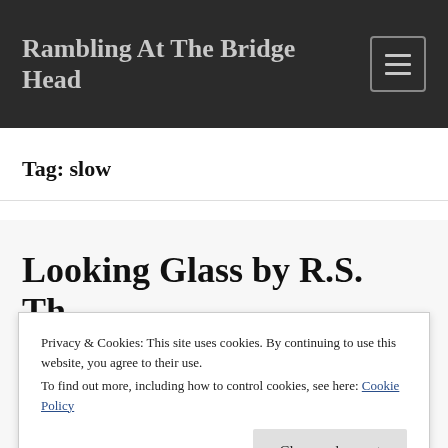Rambling At The Bridge Head
Tag: slow
Looking Glass by R.S. Th…
Privacy & Cookies: This site uses cookies. By continuing to use this website, you agree to their use.
To find out more, including how to control cookies, see here: Cookie Policy
Close and accept